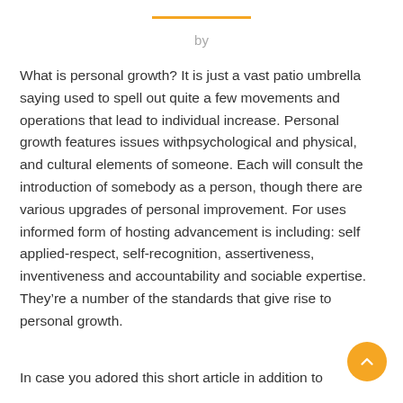by
What is personal growth? It is just a vast patio umbrella saying used to spell out quite a few movements and operations that lead to individual increase. Personal growth features issues withpsychological and physical, and cultural elements of someone. Each will consult the introduction of somebody as a person, though there are various upgrades of personal improvement. For uses informed form of hosting advancement is including: self applied-respect, self-recognition, assertiveness, inventiveness and accountability and sociable expertise. They’re a number of the standards that give rise to personal growth.
In case you adored this short article in addition to